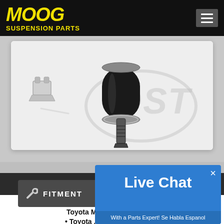MOOG SUSPENSION PARTS
[Figure (photo): Suspension parts product photo showing a sway bar link / end link component with rubber bushing, metal bracket, bolt hardware, and small nut displayed on white background. DST watermark visible in background.]
FITMENT
Fitment for beckarnle...
Toyota MR2 S... 2000-2005
• Toyota ...
Live Chat
With a Parts Expert! Se Habla Espanol